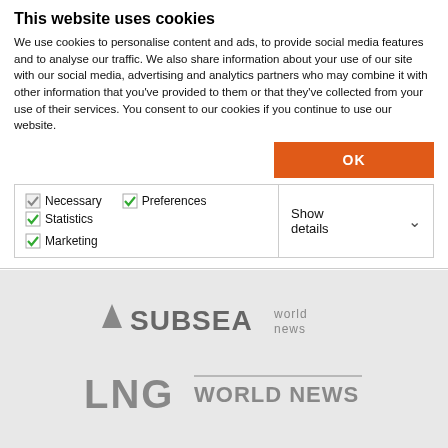This website uses cookies
We use cookies to personalise content and ads, to provide social media features and to analyse our traffic. We also share information about your use of our site with our social media, advertising and analytics partners who may combine it with other information that you've provided to them or that they've collected from your use of their services. You consent to our cookies if you continue to use our website.
OK
Necessary  Preferences  Statistics  Marketing  Show details
[Figure (logo): Subsea World News logo — a grey triangle icon followed by 'SUBSEA' in large grey capitals and 'world news' in smaller text to the right]
[Figure (logo): LNG World News logo — 'LNG' in large grey capitals followed by 'WORLD NEWS' with a horizontal line above it]
[Figure (logo): World Maritime News logo — a grey triangle icon followed by 'WORLD MARITIME NEWS' in grey text]